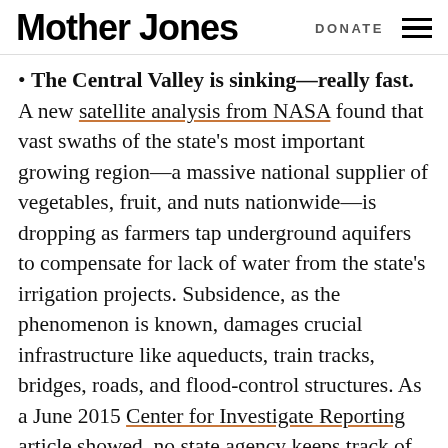Mother Jones | DONATE
The Central Valley is sinking—really fast. A new satellite analysis from NASA found that vast swaths of the state's most important growing region—a massive national supplier of vegetables, fruit, and nuts nationwide—is dropping as farmers tap underground aquifers to compensate for lack of water from the state's irrigation projects. Subsidence, as the phenomenon is known, damages crucial infrastructure like aqueducts, train tracks, bridges, roads, and flood-control structures. As a June 2015 Center for Investigate Reporting article showed, no state agency keeps track of the financial cost exacted by repairing the ravages of subsidence, but the price tag is likely already in the tens of